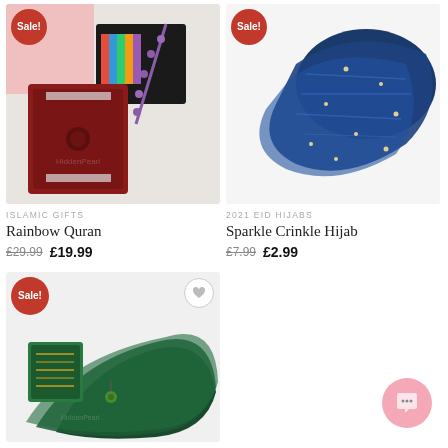[Figure (photo): Rainbow Quran product image showing a red Quran, prayer beads, and colorful books on a white background with a Sale badge]
[Figure (photo): Sparkle Crinkle Hijab product image showing a blue crinkle hijab with sparkles/studs on white background with a Sale badge]
ISLAMIC GIFTS
Rainbow Quran
£29.99  £19.99
2021 EID HIJABS
Sparkle Crinkle Hijab
£7.99  £2.99
[Figure (photo): Third product image showing a dark green chiffon hijab with a decorative brooch and an embroidered item, with Sale badge]